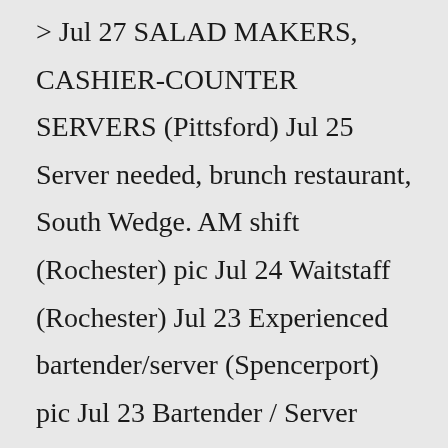> Jul 27 SALAD MAKERS, CASHIER-COUNTER SERVERS (Pittsford) Jul 25 Server needed, brunch restaurant, South Wedge. AM shift (Rochester) pic Jul 24 Waitstaff (Rochester) Jul 23 Experienced bartender/server (Spencerport) pic Jul 23 Bartender / Server (Brighton) pic Jul 21 Barista / ServerJul 06, 2016 · search titles only has image posted today bundle duplicates include nearby areas albany, NY (alb); altoona-johnstown (aoo); annapolis